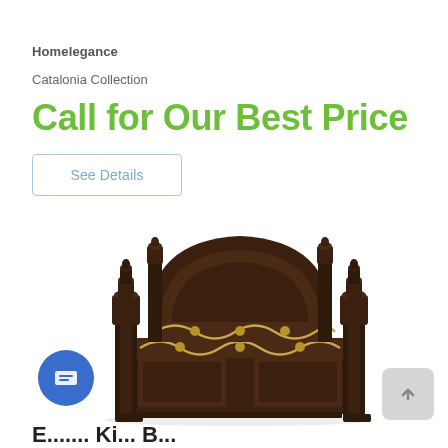Homelegance
Catalonia Collection
Call for Our Best Price
See Details
[Figure (photo): Ornate dark wood king bed headboard and footboard with decorative silver/gold carved scrollwork and finials on four posts, baroque/Victorian style.]
E....... Ki... B...